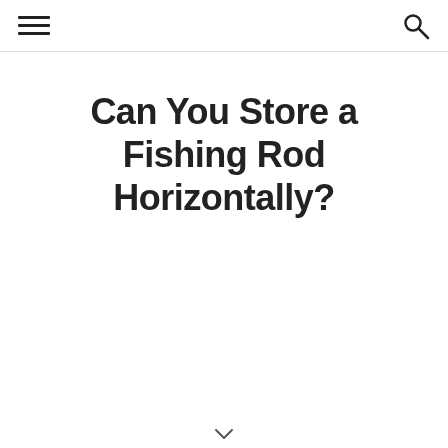[hamburger menu] [search icon]
Can You Store a Fishing Rod Horizontally?